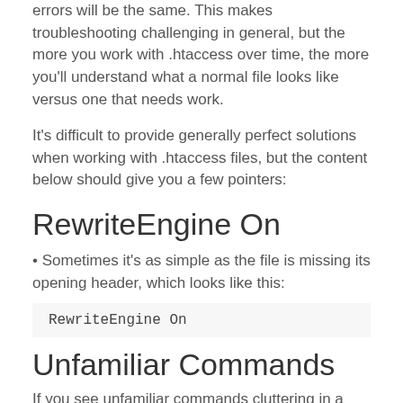errors will be the same. This makes troubleshooting challenging in general, but the more you work with .htaccess over time, the more you'll understand what a normal file looks like versus one that needs work.
It's difficult to provide generally perfect solutions when working with .htaccess files, but the content below should give you a few pointers:
RewriteEngine On
• Sometimes it's as simple as the file is missing its opening header, which looks like this:
RewriteEngine On
Unfamiliar Commands
If you see unfamiliar commands cluttering in a